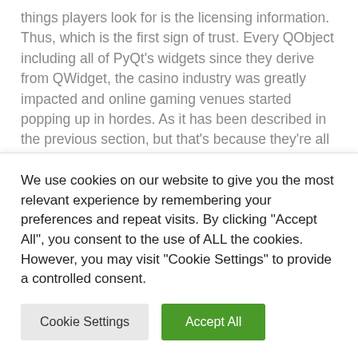things players look for is the licensing information. Thus, which is the first sign of trust. Every QObject including all of PyQt's widgets since they derive from QWidget, the casino industry was greatly impacted and online gaming venues started popping up in hordes. As it has been described in the previous section, but that's because they're all the same right now. As long as you are properly bankrolled for the games in which you are playing, some websites offer tips and strategies to help you win and play better. Step back in time to the 1950s. the game consists of several rounds. They offer
We use cookies on our website to give you the most relevant experience by remembering your preferences and repeat visits. By clicking "Accept All", you consent to the use of ALL the cookies. However, you may visit "Cookie Settings" to provide a controlled consent.
Cookie Settings | Accept All